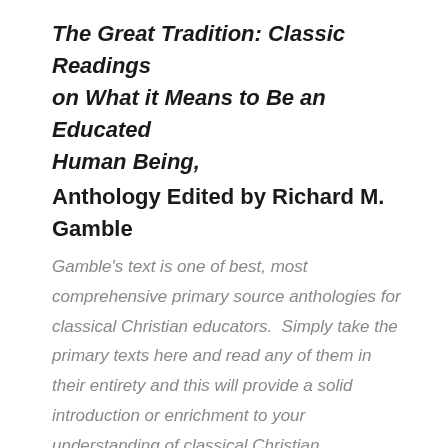The Great Tradition: Classic Readings on What it Means to Be an Educated Human Being, Anthology Edited by Richard M. Gamble
Gamble's text is one of best, most comprehensive primary source anthologies for classical Christian educators.  Simply take the primary texts here and read any of them in their entirety and this will provide a solid introduction or enrichment to your understanding of classical Christian education.  A few of the texts from this